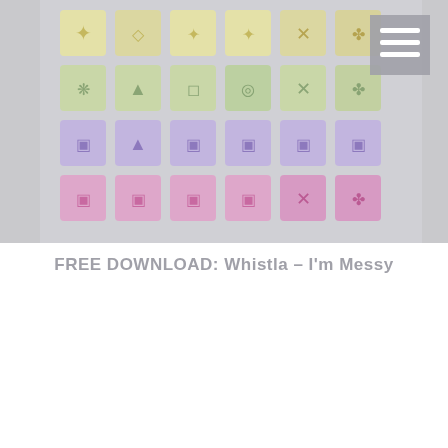[Figure (screenshot): Screenshot of a music controller/launchpad interface showing a grid of colored square buttons arranged in rows. Top rows have yellow/cream colored squares with various icons, middle rows have green squares with icons, then purple/lavender squares, and bottom rows have pink/hot-pink squares. There is a hamburger menu icon (three horizontal lines) in the top-right corner on a gray background. The overall image has a light gray washed-out appearance.]
FREE DOWNLOAD: Whistla – I'm Messy